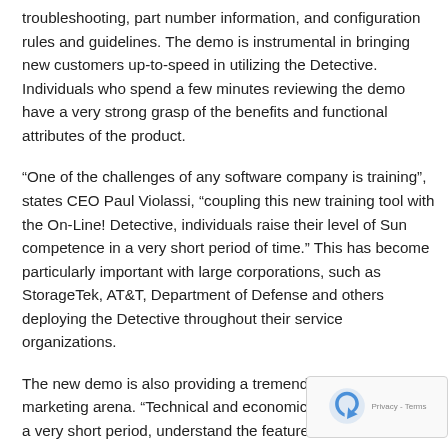troubleshooting, part number information, and configuration rules and guidelines. The demo is instrumental in bringing new customers up-to-speed in utilizing the Detective. Individuals who spend a few minutes reviewing the demo have a very strong grasp of the benefits and functional attributes of the product.
“One of the challenges of any software company is training”, states CEO Paul Violassi, “coupling this new training tool with the On-Line! Detective, individuals raise their level of Sun competence in a very short period of time.” This has become particularly important with large corporations, such as StorageTek, AT&T, Department of Defense and others deploying the Detective throughout their service organizations.
The new demo is also providing a tremendous benefit in the marketing arena. “Technical and economic buyers are able, in a very short period, understand the features of the full Detective and make a decision on whether it is right for their organizations”, offers Michael Neff, Director of Marketing at SoftTech. SoftTech re- sent out 17,000 demo CDs through PCI’s, SunServer maga- “The feedback and early response is very encouraging”, rep- Neff.